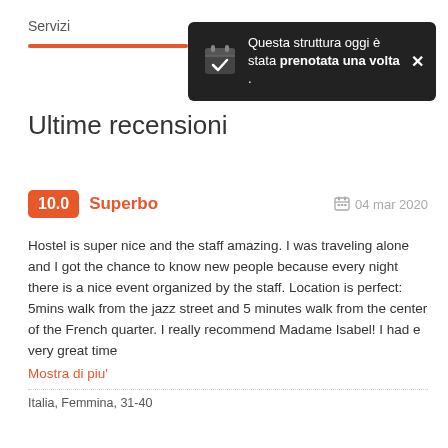Servizi
[Figure (infographic): Tooltip notification popup with dark background, calendar icon with checkmark, text: Questa struttura oggi è stata prenotata una volta. Close X button on the right.]
Ultime recensioni
10.0  Superbo  04 mar 2020
Hostel is super nice and the staff amazing. I was traveling alone and I got the chance to know new people because every night there is a nice event organized by the staff. Location is perfect: 5mins walk from the jazz street and 5 minutes walk from the center of the French quarter. I really recommend Madame Isabel! I had e very great time
Mostra di piu'
Italia, Femmina, 31-40